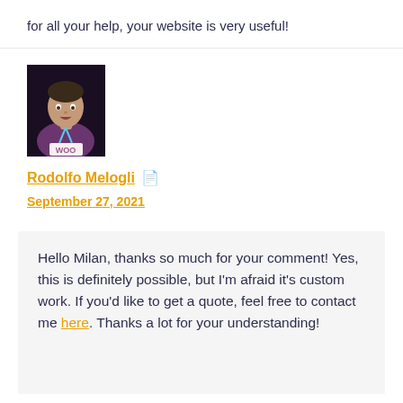for all your help, your website is very useful!
[Figure (photo): Profile photo of Rodolfo Melogli wearing a purple shirt with WooCommerce lanyard, dark background]
Rodolfo Melogli 📄
September 27, 2021
Hello Milan, thanks so much for your comment! Yes, this is definitely possible, but I'm afraid it's custom work. If you'd like to get a quote, feel free to contact me here. Thanks a lot for your understanding!